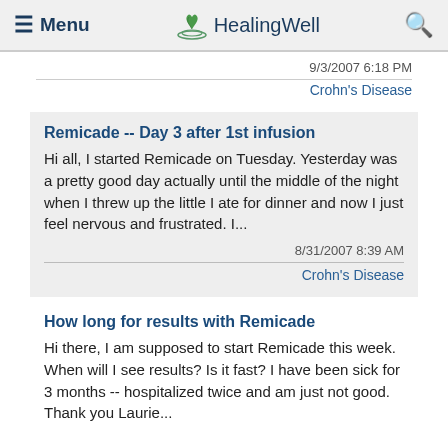Menu | HealingWell
9/3/2007 6:18 PM
Crohn's Disease
Remicade -- Day 3 after 1st infusion
Hi all, I started Remicade on Tuesday. Yesterday was a pretty good day actually until the middle of the night when I threw up the little I ate for dinner and now I just feel nervous and frustrated. I...
8/31/2007 8:39 AM
Crohn's Disease
How long for results with Remicade
Hi there, I am supposed to start Remicade this week. When will I see results? Is it fast? I have been sick for 3 months -- hospitalized twice and am just not good. Thank you Laurie...